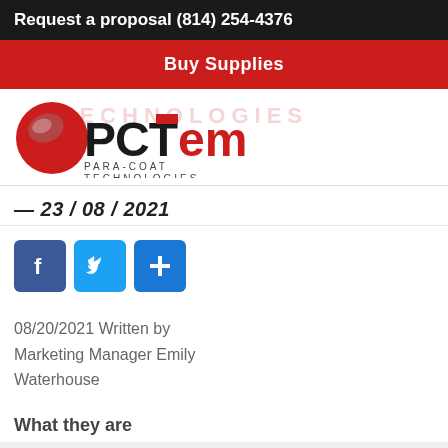Request a proposal (814) 254-4376
Buy Supplies
[Figure (logo): Para-Coat Technologies (PCT) logo with red sphere and black lettering, PARA-COAT TECHNOLOGIES subtitle. Watermark text 'TECHNOLOGIES' in faded red behind logo.]
— 23 / 08 / 2021
[Figure (infographic): Social sharing buttons: Facebook (f), Twitter (bird icon), and a plus (+) button, all in blue rounded squares.]
08/20/2021 Written by Marketing Manager Emily Waterhouse
What they are